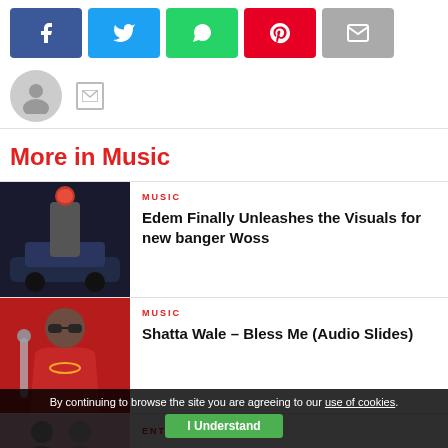[Figure (infographic): Social share buttons: Facebook (blue), Twitter (light blue), WhatsApp (green), Pinterest (red), Email (grey)]
[Figure (photo): User avatar silhouette circle with email icon]
More in Music
[Figure (photo): Edem artist photo - person in red mask standing near car]
MUSIC
Edem Finally Unleashes the Visuals for new banger Woss
[Figure (photo): Shatta Wale artist photo - person in red jacket with sunglasses and gold chain]
MUSIC
Shatta Wale – Bless Me (Audio Slides)
[Figure (photo): Entertainment article thumbnail - two people on pink background]
ENTERTAINMENT
By continuing to browse the site you are agreeing to our use of cookies.
I Understand